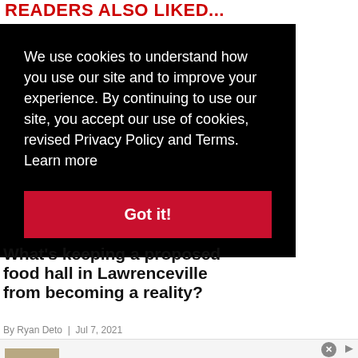READERS ALSO LIKED...
We use cookies to understand how you use our site and to improve your experience. By continuing to use our site, you accept our use of cookies, revised Privacy Policy and Terms.  Learn more
Got it!
What's keeping a proposed food hall in Lawrenceville from becoming a reality?
By Ryan Deto  |  Jul 7, 2021
[Figure (screenshot): Advertisement for Frontgate SALES: 20% off sitewide plus free shipping from August 19-22, frontgate.com, with furniture image and navigation arrow]